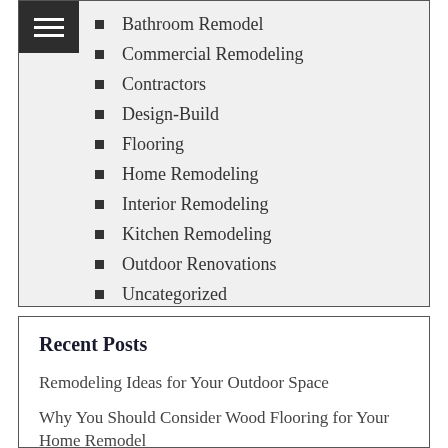Bathroom Remodel
Commercial Remodeling
Contractors
Design-Build
Flooring
Home Remodeling
Interior Remodeling
Kitchen Remodeling
Outdoor Renovations
Uncategorized
Recent Posts
Remodeling Ideas for Your Outdoor Space
Why You Should Consider Wood Flooring for Your Home Remodel